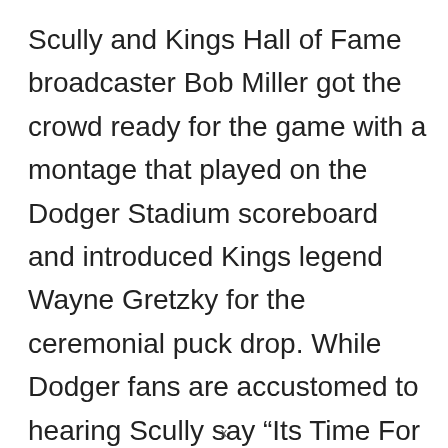Scully and Kings Hall of Fame broadcaster Bob Miller got the crowd ready for the game with a montage that played on the Dodger Stadium scoreboard and introduced Kings legend Wayne Gretzky for the ceremonial puck drop. While Dodger fans are accustomed to hearing Scully say “Its Time For Dodger Baseball”, the 86-year-old broadcaster said, “Its Time For NHL Hockey”.
x